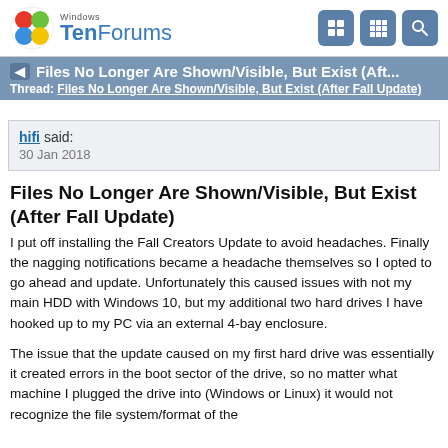Windows TenForums
Files No Longer Are Shown/Visible, But Exist (Aft...
Thread: Files No Longer Are Shown/Visible, But Exist (After Fall Update)
hifi said:
30 Jan 2018
Files No Longer Are Shown/Visible, But Exist (After Fall Update)
I put off installing the Fall Creators Update to avoid headaches. Finally the nagging notifications became a headache themselves so I opted to go ahead and update. Unfortunately this caused issues with not my main HDD with Windows 10, but my additional two hard drives I have hooked up to my PC via an external 4-bay enclosure.
The issue that the update caused on my first hard drive was essentially it created errors in the boot sector of the drive, so no matter what machine I plugged the drive into (Windows or Linux) it would not recognize the file system/format of the